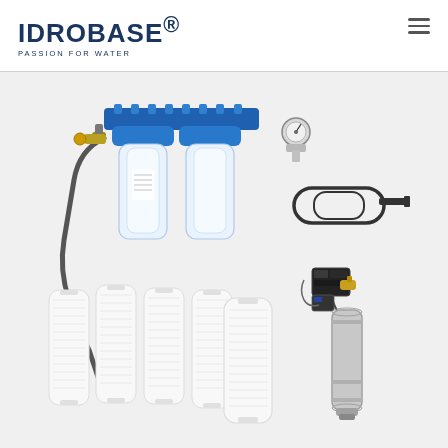IDROBASE® PASSION FOR WATER
[Figure (photo): Water filtration kit product photo: dual-housing blue filter assembly with pressure gauge, transparent filter bowls, wrench tool, UV sterilizer unit with control module, five white filter cartridges, and flexible hose — all laid out on a white background.]